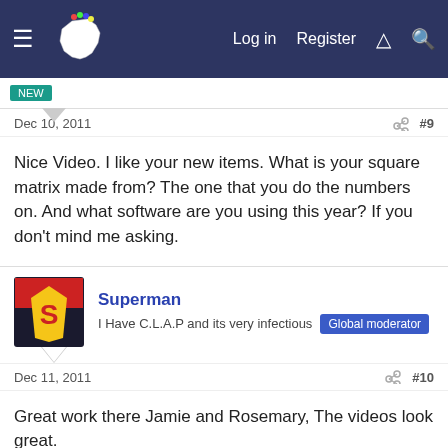Log in  Register
Dec 10, 2011  #9
Nice Video. I like your new items. What is your square matrix made from? The one that you do the numbers on. And what software are you using this year? If you don't mind me asking.
Superman — I Have C.L.A.P and its very infectious  Global moderator
Dec 11, 2011  #10
Great work there Jamie and Rosemary, The videos look great.

Your sequencing is great and works well with the songs, It looks like the lights are moving to the music which can sometimes get lost...